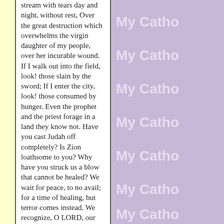stream with tears day and night, without rest, Over the great destruction which overwhelms the virgin daughter of my people, over her incurable wound. If I walk out into the field, look! those slain by the sword; If I enter the city, look! those consumed by hunger. Even the prophet and the priest forage in a land they know not. Have you cast Judah off completely? Is Zion loathsome to you? Why have you struck us a blow that cannot be healed? We wait for peace, to no avail; for a time of healing, but terror comes instead. We recognize, O LORD, our wickedness, the guilt of our fathers; that we have sinned against you. For your name's sake spurn us not, disgrace not the throne of your glory;
[Figure (other): Repeated 'My Catho' watermark text on purple background, shown 6 times vertically]